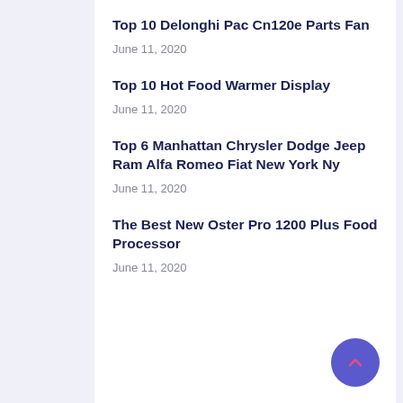Top 10 Delonghi Pac Cn120e Parts Fan
June 11, 2020
Top 10 Hot Food Warmer Display
June 11, 2020
Top 6 Manhattan Chrysler Dodge Jeep Ram Alfa Romeo Fiat New York Ny
June 11, 2020
The Best New Oster Pro 1200 Plus Food Processor
June 11, 2020